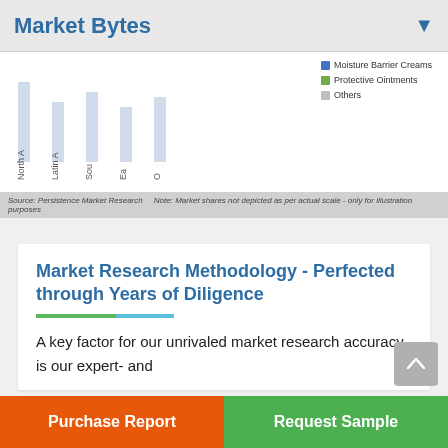Market Bytes
[Figure (other): Partial view of a bar/pie chart showing regional market data with legend items: Moisture Barrier Creams, Protective Ointments, Others. Axis labels visible: North A[merica], Latin A[merica], Sou[th...], Ea[st...], O[ther...]]
Source: Persistence Market Research   Note: Market shares not depicted as per actual scale - only for illustration purposes
Market Research Methodology - Perfected through Years of Diligence
A key factor for our unrivaled market research accuracy is our expert- and